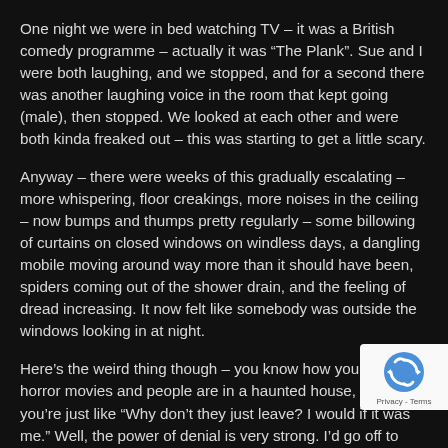One night we were in bed watching TV – it was a British comedy programme – actually it was “The Plank”. Sue and I were both laughing, and we stopped, and for a second there was another laughing voice in the room that kept going (male), then stopped. We looked at each other and were both kinda freaked out – this was starting to get a little scary.
Anyway – there were weeks of this gradually escalating – more whispering, floor creakings, more noises in the ceiling – now bumps and thumps pretty regularly – some billowing of curtains on closed windows on windless days, a dangling mobile moving around way more than it should have been, spiders coming out of the shower drain, and the feeling of dread increasing. It now felt like somebody was outside the windows looking in at night.
Here’s the weird thing though – you know how you see horror movies and people are in a haunted house, and you’re just like “Why don’t they just leave? I would if it was me.” Well, the power of denial is very strong. I’d go off to work each d... tell people about it and we’d laugh – some of my work... would scoff and others would tell their own ghost stori... (there were some weird things going on in Peterua – one...
[Figure (logo): reCAPTCHA badge with logo icon and Privacy - Terms text]